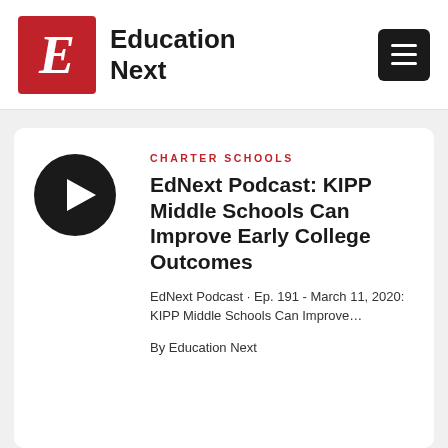Education Next
CHARTER SCHOOLS
EdNext Podcast: KIPP Middle Schools Can Improve Early College Outcomes
EdNext Podcast · Ep. 191 - March 11, 2020: KIPP Middle Schools Can Improve…
By Education Next